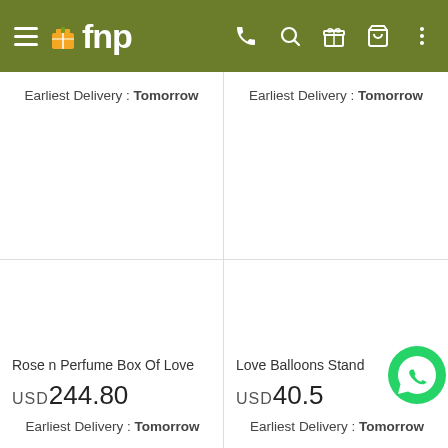fnp — hamburger menu, phone, search, gift, cart, more icons
Earliest Delivery : Tomorrow
Earliest Delivery : Tomorrow
Rose n Perfume Box Of Love
USD244.80
Earliest Delivery : Tomorrow
Love Balloons Stand
USD40.5
Earliest Delivery : Tomorrow